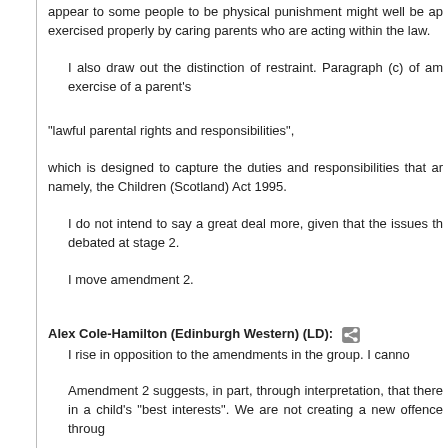appear to some people to be physical punishment might well be ap exercised properly by caring parents who are acting within the law.
I also draw out the distinction of restraint. Paragraph (c) of am exercise of a parent's
“lawful parental rights and responsibilities”,
which is designed to capture the duties and responsibilities that ar namely, the Children (Scotland) Act 1995.
I do not intend to say a great deal more, given that the issues th debated at stage 2.
I move amendment 2.
Alex Cole-Hamilton (Edinburgh Western) (LD):
I rise in opposition to the amendments in the group. I canno
Amendment 2 suggests, in part, through interpretation, that there in a child’s “best interests”. We are not creating a new offence throug
Oliver Mundell:
I want to clarify for Alex Cole-Hamilton that the amendme exist in Scots law, whereby “assault” could mean a person ra state of fear or alarm. I think that both those things can be ac the law, and I want to make it clear that that is not what we wi